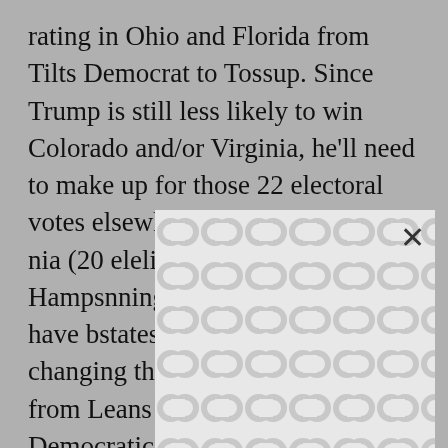rating in Ohio and Florida from Tilts Democrat to Tossup. Since Trump is still less likely to win Colorado and/or Virginia, he'll need to make up for those 22 electoral votes elsewhere, assuming he win[...] nia (20 ele[...] lity show h[...] need to win [...] Hamps[...] nning ahead [...] wa and Ne[...] ists have b[...] states for months. We're changing the rating of both states from Leans Democratic to Tilts Democratic, with the traditional Democratic-lean of the states keeping them out of Tossup for now.
[Figure (other): A white overlay box with a repeating circular link/chain pattern in light gray, partially obscuring the text behind it. An X close button is visible in the upper right corner of the overlay.]